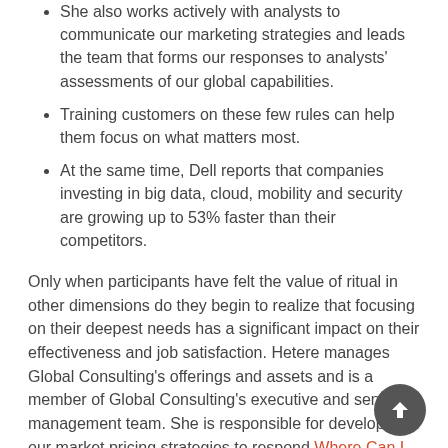She also works actively with analysts to communicate our marketing strategies and leads the team that forms our responses to analysts' assessments of our global capabilities.
Training customers on these few rules can help them focus on what matters most.
At the same time, Dell reports that companies investing in big data, cloud, mobility and security are growing up to 53% faster than their competitors.
Only when participants have felt the value of ritual in other dimensions do they begin to realize that focusing on their deepest needs has a significant impact on their effectiveness and job satisfaction. Hetere manages Global Consulting's offerings and assets and is a member of Global Consulting's executive and senior management team. She is responsible for developing our market pricing strategies to respond Where Can I Find Delta-10 Disposables? to rapid market changes. Hetere and her